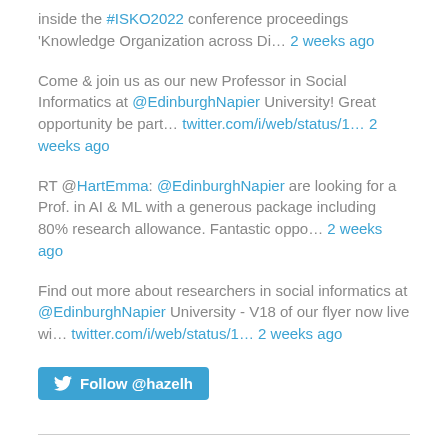inside the #ISKO2022 conference proceedings 'Knowledge Organization across Di… 2 weeks ago
Come & join us as our new Professor in Social Informatics at @EdinburghNapier University! Great opportunity be part… twitter.com/i/web/status/1… 2 weeks ago
RT @HartEmma: @EdinburghNapier are looking for a Prof. in AI & ML with a generous package including 80% research allowance. Fantastic oppo… 2 weeks ago
Find out more about researchers in social informatics at @EdinburghNapier University - V18 of our flyer now live wi… twitter.com/i/web/status/1… 2 weeks ago
[Figure (other): Twitter Follow button for @hazelh]
Recent Posts
Job vacancy: Professor in Social Informatics, Edinburgh Napier